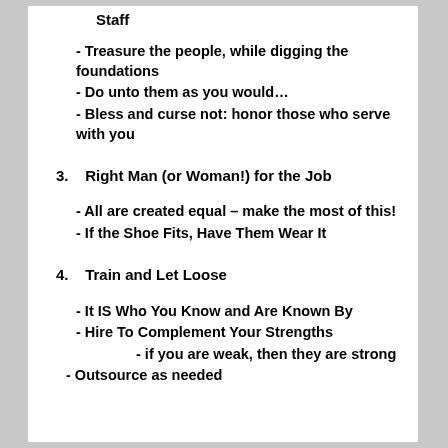Staff
- Treasure the people, while digging the foundations
- Do unto them as you would…
- Bless and curse not: honor those who serve with you
3.   Right Man (or Woman!) for the Job
- All are created equal – make the most of this!
- If the Shoe Fits, Have Them Wear It
4.   Train and Let Loose
- It IS Who You Know and Are Known By
- Hire To Complement Your Strengths
- if you are weak, then they are strong
- Outsource as needed